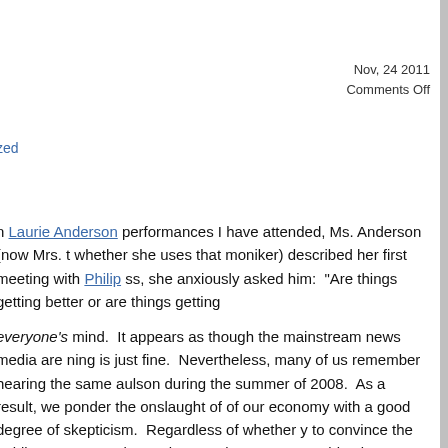Nov, 24 2011
Comments Off
zed
n Laurie Anderson performances I have attended, Ms. Anderson (now Mrs. t whether she uses that moniker) described her first meeting with Philip ss, she anxiously asked him: “Are things getting better or are things getting
everyone’s mind. It appears as though the mainstream news media are ning is just fine. Nevertheless, many of us remember hearing the same aulson during the summer of 2008. As a result, we ponder the onslaught of of our economy with a good degree of skepticism. Regardless of whether y to convince the public to go out and spend money because everything is y Steve Randy Waldman from a discussion about market monetarist theory:
heart of the market monetarist theory. A depression occurs when people scarce relative to prior expectations and debts. They nervously scale back ng their expectations of income scarcity. However, if everybody could come would be plentiful, everyone would spend freely and fulfill the a much more pleasant place under the second set of expectations than the n scenarios, all that is required is persuasion. The market-monetarist central ersuader: when “shocks happen”, it persuades us all to maintain our